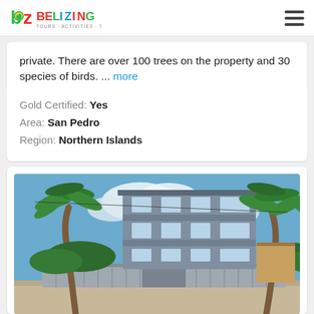Belizing - Tours · Activities · Transportation
private. There are over 100 trees on the property and 30 species of birds. ... more
Gold Certified: Yes
Area: San Pedro
Region: Northern Islands
[Figure (photo): Three-story modern building with gray metal siding and balconies, flanked by tall palm trees, behind a corrugated metal fence, under a blue sky with clouds.]